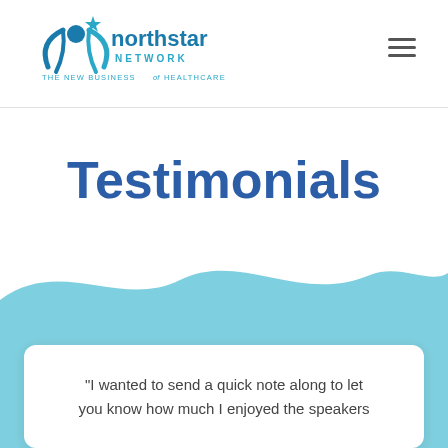[Figure (logo): Northstar Network logo with stylized human figure and star, teal and blue colors, tagline: THE NEW BUSINESS of HEALTHCARE]
Testimonials
[Figure (illustration): Light blue wave background section]
“I wanted to send a quick note along to let you know how much I enjoyed the speakers